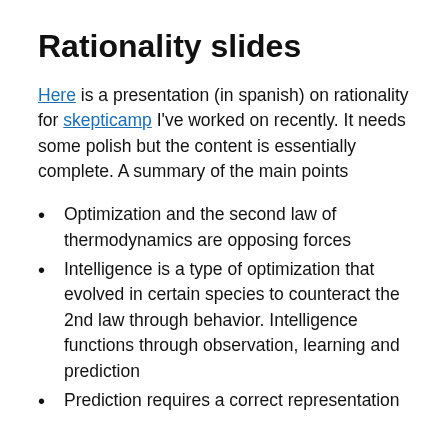Rationality slides
Here is a presentation (in spanish) on rationality for skepticamp I've worked on recently. It needs some polish but the content is essentially complete. A summary of the main points
Optimization and the second law of thermodynamics are opposing forces
Intelligence is a type of optimization that evolved in certain species to counteract the 2nd law through behavior. Intelligence functions through observation, learning and prediction
Prediction requires a correct representation